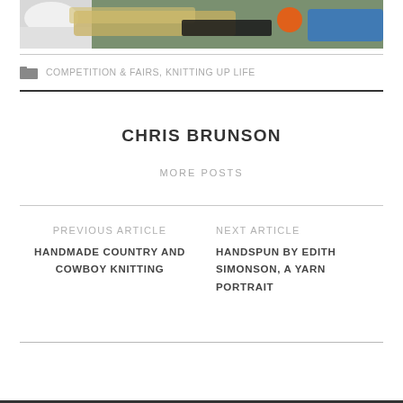[Figure (photo): Partial view of a cow and hay with orange and blue yarn balls in the background]
COMPETITION & FAIRS, KNITTING UP LIFE
CHRIS BRUNSON
MORE POSTS
PREVIOUS ARTICLE
HANDMADE COUNTRY AND COWBOY KNITTING
NEXT ARTICLE
HANDSPUN BY EDITH SIMONSON, A YARN PORTRAIT